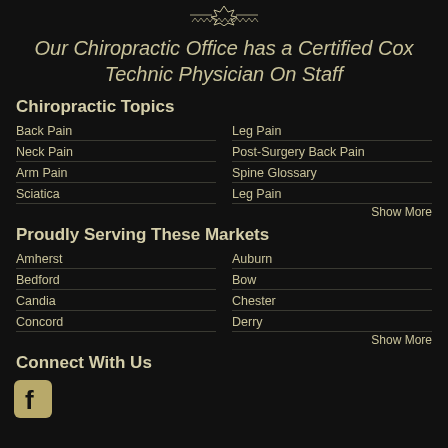[Figure (logo): Decorative logo/crest icon at top center]
Our Chiropractic Office has a Certified Cox Technic Physician On Staff
Chiropractic Topics
Back Pain
Leg Pain
Neck Pain
Post-Surgery Back Pain
Arm Pain
Spine Glossary
Sciatica
Leg Pain
Show More
Proudly Serving These Markets
Amherst
Auburn
Bedford
Bow
Candia
Chester
Concord
Derry
Show More
Connect With Us
[Figure (logo): Facebook icon]